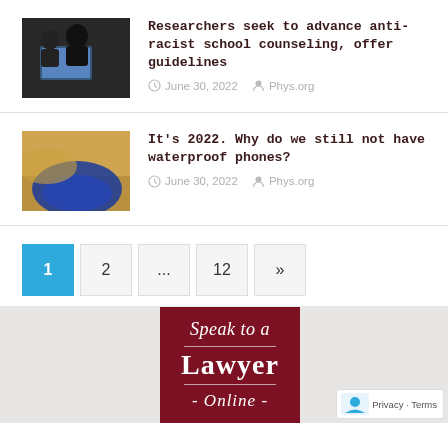[Figure (photo): Two people looking at a laptop screen, dark tones]
Researchers seek to advance anti-racist school counseling, offer guidelines
June 30, 2022   Phys.org
[Figure (photo): Aerial view of land and water, sandy and blue tones]
It's 2022. Why do we still not have waterproof phones?
June 30, 2022   Phys.org
1  2  ...  12  »
[Figure (illustration): Advertisement banner: Speak to a Lawyer Online, dark red background]